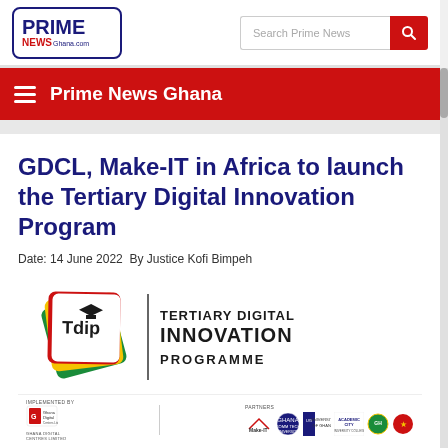Prime News Ghana
GDCL, Make-IT in Africa to launch the Tertiary Digital Innovation Program
Date: 14 June 2022  By Justice Kofi Bimpeh
[Figure (logo): Tertiary Digital Innovation Programme (TDIP) logo with Ghana flag-colored stacked cards and partner logos bar below including Ghana Digital Centres Limited, Make-IT in Africa, Ghana Communication Technology University, University of Ghana, Academic City University College, and others. Below is a red-yellow-green color stripe.]